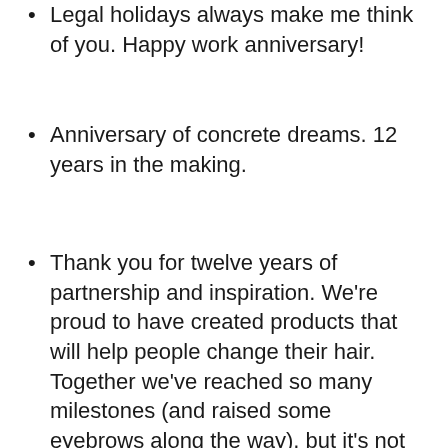Legal holidays always make me think of you. Happy work anniversary!
Anniversary of concrete dreams. 12 years in the making.
Thank you for twelve years of partnership and inspiration. We're proud to have created products that will help people change their hair. Together we've reached so many milestones (and raised some eyebrows along the way), but it's not over yet!